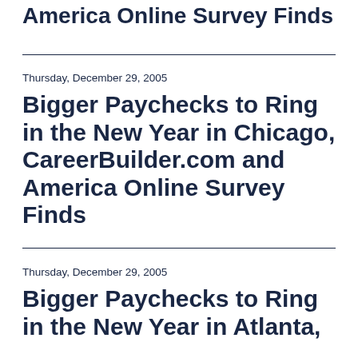America Online Survey Finds
Thursday, December 29, 2005
Bigger Paychecks to Ring in the New Year in Chicago, CareerBuilder.com and America Online Survey Finds
Thursday, December 29, 2005
Bigger Paychecks to Ring in the New Year in Atlanta,